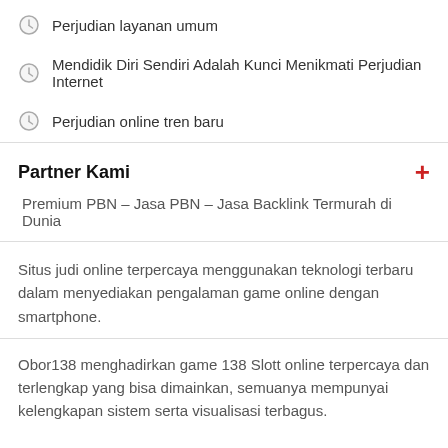Perjudian layanan umum
Mendidik Diri Sendiri Adalah Kunci Menikmati Perjudian Internet
Perjudian online tren baru
Partner Kami
Premium PBN – Jasa PBN – Jasa Backlink Termurah di Dunia
Situs judi online terpercaya menggunakan teknologi terbaru dalam menyediakan pengalaman game online dengan smartphone.
Obor138 menghadirkan game 138 Slott online terpercaya dan terlengkap yang bisa dimainkan, semuanya mempunyai kelengkapan sistem serta visualisasi terbagus.